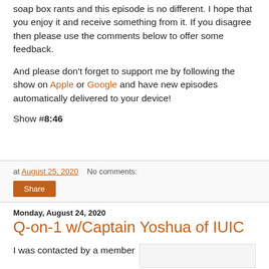soap box rants and this episode is no different.  I hope that you enjoy it and receive something from it.  If you disagree then please use the comments below to offer some feedback.
And please don't forget to support me by following the show on Apple or Google and have new episodes automatically delivered to your device!
Show #8:46
at August 25, 2020   No comments:
Share
Monday, August 24, 2020
Q-on-1 w/Captain Yoshua of IUIC
I was contacted by a member